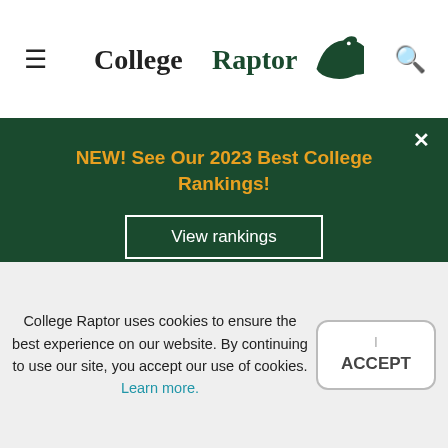CollegeRaptor
NEW! See Our 2023 Best College Rankings!
View rankings
5  of Technology
[Figure (logo): MIT logo in red and gray block letters]
College Raptor uses cookies to ensure the best experience on our website. By continuing to use our site, you accept our use of cookies. Learn more.
I ACCEPT